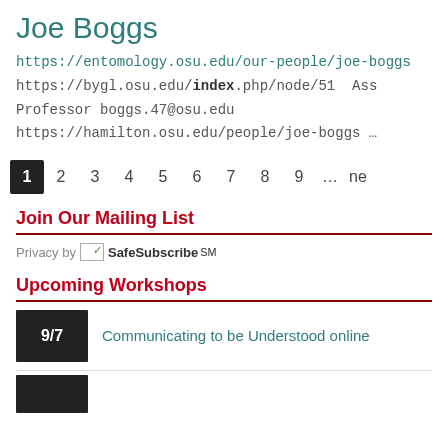Joe Boggs
https://entomology.osu.edu/our-people/joe-boggs
https://bygl.osu.edu/index.php/node/51  Ass
Professor boggs.47@osu.edu
https://hamilton.osu.edu/people/joe-boggs ...
1 2 3 4 5 6 7 8 9 … ne
Join Our Mailing List
Privacy by SafeSubscribe℠
Upcoming Workshops
9/7  Communicating to be Understood online
(partial second workshop item)